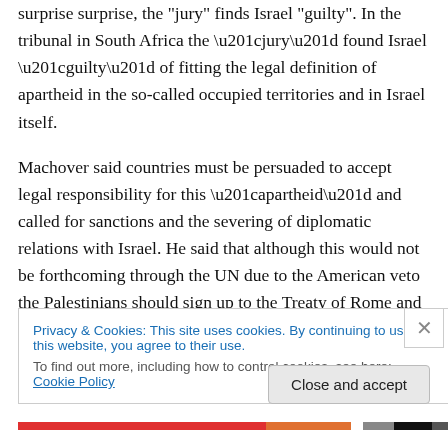surprise surprise, the "jury" finds Israel "guilty". In the tribunal in South Africa the “jury” found Israel “guilty” of fitting the legal definition of apartheid in the so-called occupied territories and in Israel itself.
Machover said countries must be persuaded to accept legal responsibility for this “apartheid” and called for sanctions and the severing of diplomatic relations with Israel. He said that although this would not be forthcoming through the UN due to the American veto the Palestinians should sign up to the Treaty of Rome and request that the situation of “apartheid” be subject to investigation by the
Privacy & Cookies: This site uses cookies. By continuing to use this website, you agree to their use.
To find out more, including how to control cookies, see here: Cookie Policy